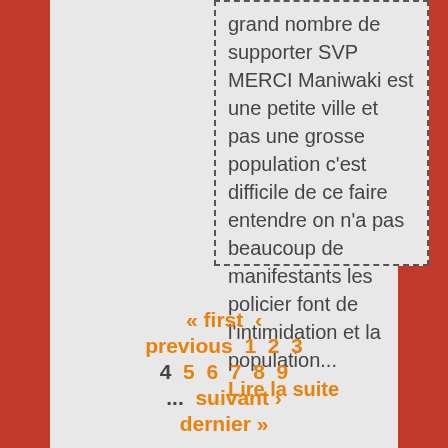grand nombre de supporter SVP MERCI Maniwaki est une petite ville et pas une grosse population c'est difficile de ce faire entendre on n'a pas beaucoup de manifestants les policier font de l'intimidation et la population...
Lire la suite
« first ‹ previous 1 2 3 4 5 6 7 8 9 ... suivant › dernier »